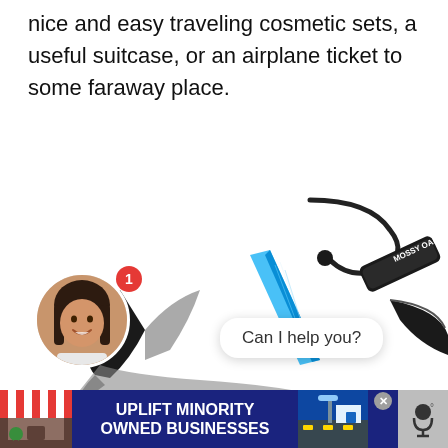nice and easy traveling cosmetic sets, a useful suitcase, or an airplane ticket to some faraway place.
[Figure (screenshot): Screenshot of an e-commerce or shopping website showing a collection of outdoor/survival tools including a folding knife with 'MOSSY OAK' branding, a hook tool with lanyard, a blue crystalline knife/tool, and pruning shears. A live chat widget appears in the bottom-left with a circular avatar photo of a smiling woman and a speech bubble saying 'Can I help you?' with a red notification badge showing the number 1.]
[Figure (screenshot): Bottom advertisement banner with dark navy blue background showing a store icon on the left with red and brown striped awning, bold white text reading 'UPLIFT MINORITY OWNED BUSINESSES', a store icon on the right, a close button (X), and a microphone or speaker icon on the far right.]